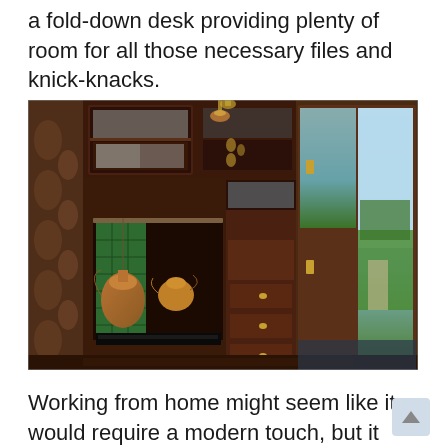a fold-down desk providing plenty of room for all those necessary files and knick-knacks.
[Figure (photo): Interior of a Victorian-style small dwelling or caravan showing rich dark wood cabinetry, a fireplace with green tiles and copper pots hanging, a writing bureau with drawers, glass-fronted upper cabinets, and an open door revealing a sunny rural landscape outside.]
Working from home might seem like it would require a modern touch, but it can still fit in with the Victorian theme. Next to the fireplace is a vintage writing bureau with a glass-fronted cabinet above. You'll also